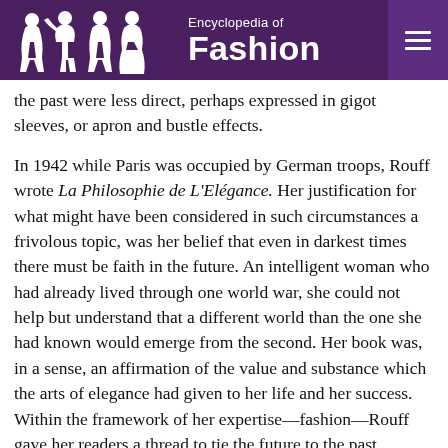Encyclopedia of Fashion
the past were less direct, perhaps expressed in gigot sleeves, or apron and bustle effects.
In 1942 while Paris was occupied by German troops, Rouff wrote La Philosophie de L'Elégance. Her justification for what might have been considered in such circumstances a frivolous topic, was her belief that even in darkest times there must be faith in the future. An intelligent woman who had already lived through one world war, she could not help but understand that a different world than the one she had known would emerge from the second. Her book was, in a sense, an affirmation of the value and substance which the arts of elegance had given to her life and her success. Within the framework of her expertise—fashion—Rouff gave her readers a thread to tie the future to the past.
Rouff's daughter, Anne-Marie Besançon de Wagner, took over the designing upon her mother's retirement in 1948. The house maintained the attitudes toward dress it had always